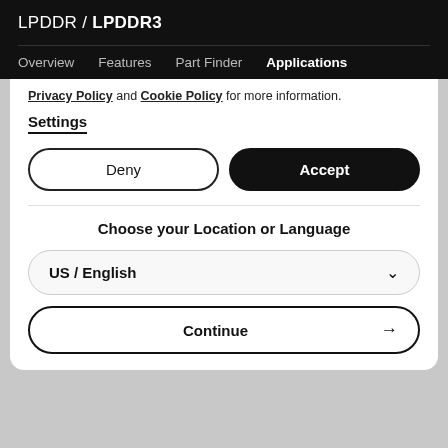LPDDR / LPDDR3
Overview  Features  Part Finder  Applications
Privacy Policy and Cookie Policy for more information.
Settings
Deny
Accept
Choose your Location or Language
US / English
Continue